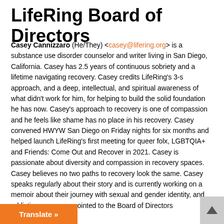LifeRing Board of Directors
Casey Cannizzaro (He/They) <casey@lifering.org> is a substance use disorder counselor and writer living in San Diego, California. Casey has 2.5 years of continuous sobriety and a lifetime navigating recovery. Casey credits LifeRing's 3-s approach, and a deep, intellectual, and spiritual awareness of what didn't work for him, for helping to build the solid foundation he has now. Casey's approach to recovery is one of compassion and he feels like shame has no place in his recovery. Casey convened HWYW San Diego on Friday nights for six months and helped launch LifeRing's first meeting for queer folx, LGBTQIA+ and Friends: Come Out and Recover in 2021. Casey is passionate about diversity and compassion in recovery spaces. Casey believes no two paths to recovery look the same. Casey speaks regularly about their story and is currently working on a memoir about their journey with sexual and gender identity, and addiction. ey was appointed to the Board of Directors